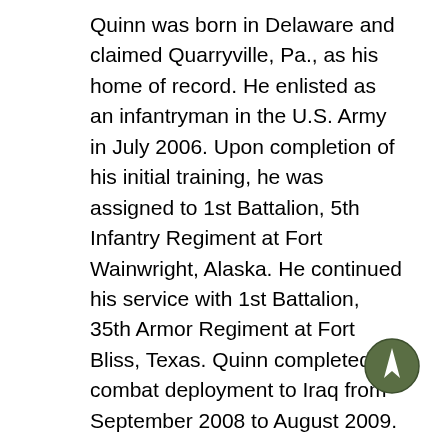Quinn was born in Delaware and claimed Quarryville, Pa., as his home of record. He enlisted as an infantryman in the U.S. Army in July 2006. Upon completion of his initial training, he was assigned to 1st Battalion, 5th Infantry Regiment at Fort Wainwright, Alaska. He continued his service with 1st Battalion, 35th Armor Regiment at Fort Bliss, Texas. Quinn completed a combat deployment to Iraq from September 2008 to August 2009.
After his assignment at Fort Bliss, Quinn volunteered for the Special Forces Assessment and Selection Course. He graduated from the Special Forces Qualification Course in 2013. His first assignment as a Green Beret was as an engineer sergeant with 3rd Bn., 10th SFG (A), where he served on a Special Forces team. Quinn's military education includes the Northern Warfare Course, Combatives Level 2, Combat Life Saver Course, Warrior Leaders Course, Advanced Leaders Course, Basic Military Mountaineering School, Basic Airborne Course, and the Special
[Figure (illustration): Navigation/compass icon — circular dark olive/green button with a white upward-pointing arrow symbol]